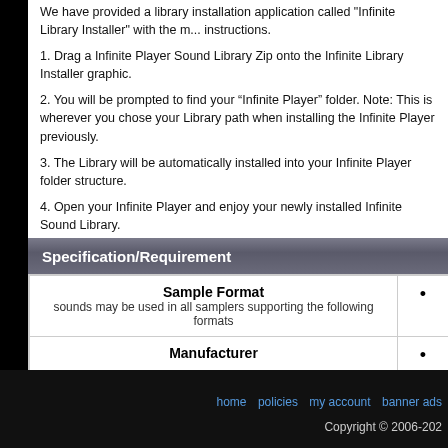We have provided a library installation application called 'Infinite Library Installer' with the m... instructions.
1. Drag a Infinite Player Sound Library Zip onto the Infinite Library Installer graphic.
2. You will be prompted to find your “Infinite Player” folder. Note: This is wherever you chose your Library path when installing the Infinite Player previously.
3. The Library will be automatically installed into your Infinite Player folder structure.
4. Open your Infinite Player and enjoy your newly installed Infinite Sound Library.
Specification/Requirement
| Sample Format |  |
| --- | --- |
| Sample Format
sounds may be used in all samplers supporting the following formats | • |
| Manufacturer | • |
home   policies   my account   banner ads   Copyright © 2006-202...